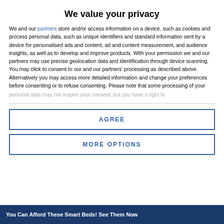We value your privacy
We and our partners store and/or access information on a device, such as cookies and process personal data, such as unique identifiers and standard information sent by a device for personalised ads and content, ad and content measurement, and audience insights, as well as to develop and improve products. With your permission we and our partners may use precise geolocation data and identification through device scanning. You may click to consent to our and our partners' processing as described above. Alternatively you may access more detailed information and change your preferences before consenting or to refuse consenting. Please note that some processing of your personal data may not require your consent, but you have a right to
AGREE
MORE OPTIONS
You Can Afford These Smart Beds! See Them Now